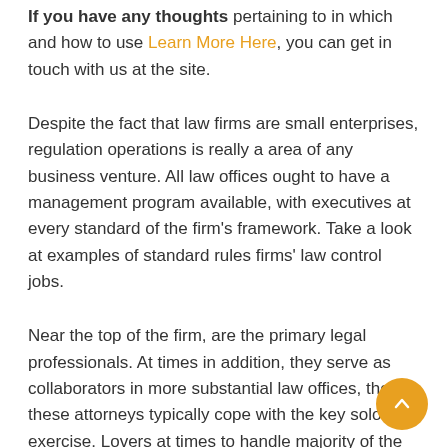If you have any thoughts pertaining to in which and how to use Learn More Here, you can get in touch with us at the site.
Despite the fact that law firms are small enterprises, regulation operations is really a area of any business venture. All law offices ought to have a management program available, with executives at every standard of the firm's framework. Take a look at examples of standard rules firms' law control jobs.
Near the top of the firm, are the primary legal professionals. At times in addition, they serve as collaborators in more substantial law offices, though these attorneys typically cope with the key solo exercise. Lovers at times to handle majority of the process on the other hand, they solely deal with